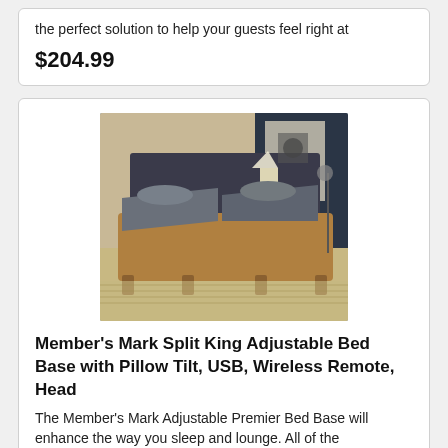the perfect solution to help your guests feel right at
$204.99
[Figure (photo): Member's Mark Split King Adjustable Bed Base shown in a bedroom setting with dark headboard, wood frame, and grey adjustable mattress sections on a patterned rug]
Member’s Mark Split King Adjustable Bed Base with Pillow Tilt, USB, Wireless Remote, Head
The Member’s Mark Adjustable Premier Bed Base will enhance the way you sleep and lounge. All of the
$1,099.00